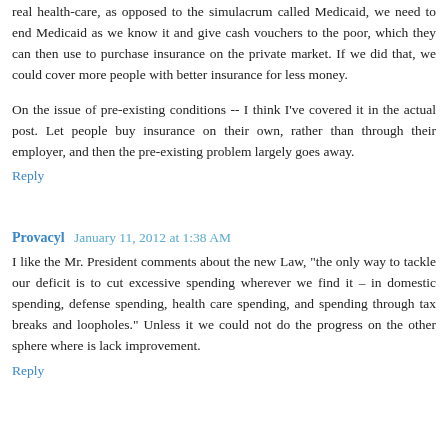real health-care, as opposed to the simulacrum called Medicaid, we need to end Medicaid as we know it and give cash vouchers to the poor, which they can then use to purchase insurance on the private market. If we did that, we could cover more people with better insurance for less money.
On the issue of pre-existing conditions -- I think I've covered it in the actual post. Let people buy insurance on their own, rather than through their employer, and then the pre-existing problem largely goes away.
Reply
Provacyl  January 11, 2012 at 1:38 AM
I like the Mr. President comments about the new Law, "the only way to tackle our deficit is to cut excessive spending wherever we find it – in domestic spending, defense spending, health care spending, and spending through tax breaks and loopholes." Unless it we could not do the progress on the other sphere where is lack improvement.
Reply